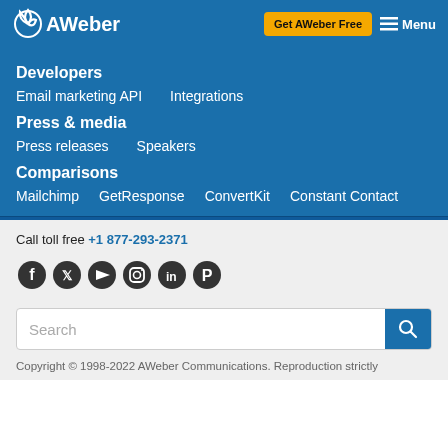[Figure (logo): AWeber logo with circular icon on left, white text on blue background]
Get AWeber Free
Menu
Developers
Email marketing API
Integrations
Press & media
Press releases
Speakers
Comparisons
Mailchimp
GetResponse
ConvertKit
Constant Contact
Call toll free +1 877-293-2371
[Figure (illustration): Social media icons: Facebook, Twitter, YouTube, Instagram, LinkedIn, Pinterest]
Search
Copyright © 1998-2022 AWeber Communications. Reproduction strictly